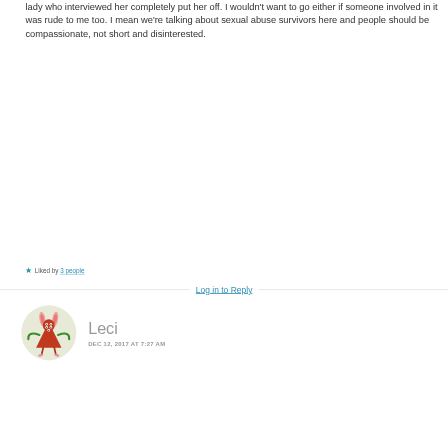lady who interviewed her completely put her off. I wouldn't want to go either if someone involved in it was rude to me too. I mean we're talking about sexual abuse survivors here and people should be compassionate, not short and disinterested.
Liked by 3 people
Log in to Reply
[Figure (illustration): Circular avatar with cartoon character illustration: a small red triangular creature with pink rabbit ears, green arms raised, and multiple eyes on a beige/cream circular background]
Leci
DEC 12, 2017 AT 7:27 AM